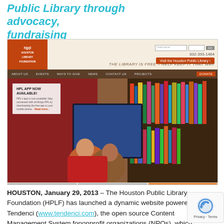Public Library through advocacy, fundraising
[Figure (screenshot): Screenshot of the Houston Public Library Foundation (HPLF) website, showing the logo, navigation bar with About Us, Events, Ways to Give, News, Contact Us, Projects, Donate, and a hero image of two people using a touchscreen display in a library setting. A banner reads 'HPL APP NOW AVAILABLE!']
HOUSTON, January 29, 2013 – The Houston Public Library Foundation (HPLF) has launched a dynamic website powered by Tendenci (www.tendenci.com), the open source Content Management System for nonprofit organizations (NPOs), which makes it